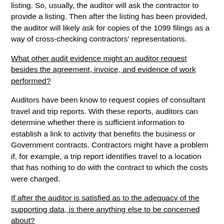listing. So, usually, the auditor will ask the contractor to provide a listing. Then after the listing has been provided, the auditor will likely ask for copies of the 1099 filings as a way of cross-checking contractors' representations.
What other audit evidence might an auditor request besides the agreement, invoice, and evidence of work performed?
Auditors have been know to request copies of consultant travel and trip reports. With these reports, auditors can determine whether there is sufficient information to establish a link to activity that benefits the business or Government contracts. Contractors might have a problem if, for example, a trip report identifies travel to a location that has nothing to do with the contract to which the costs were charged.
If after the auditor is satisfied as to the adequacy of the supporting data, is there anything else to be concerned about?
Yes - reasonableness. The auditor will endeavor to assess whether the fees charged are reasonable. Although